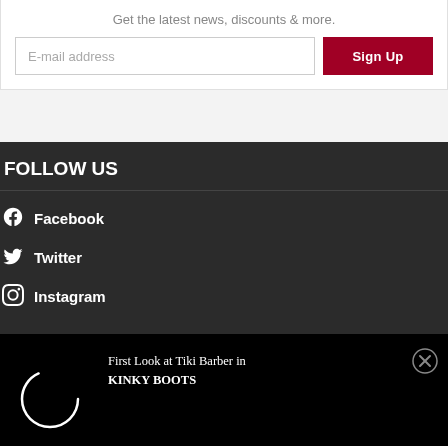Get the latest news, discounts & more.
E-mail address
Sign Up
FOLLOW US
Facebook
Twitter
Instagram
First Look at Tiki Barber in KINKY BOOTS
[Figure (other): Loading spinner circle on black background]